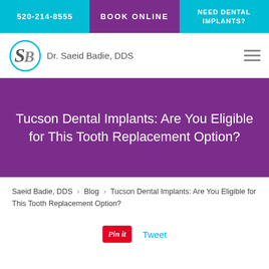520-214-8555 | BOOK ONLINE | NEED DENTAL IMPLANTS?
[Figure (logo): SB logo monogram with Dr. Saeid Badie, DDS text]
Tucson Dental Implants: Are You Eligible for This Tooth Replacement Option?
Saeid Badie, DDS › Blog › Tucson Dental Implants: Are You Eligible for This Tooth Replacement Option?
Pin it   Tweet